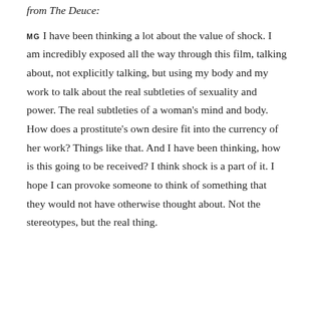from The Deuce:
MG I have been thinking a lot about the value of shock. I am incredibly exposed all the way through this film, talking about, not explicitly talking, but using my body and my work to talk about the real subtleties of sexuality and power. The real subtleties of a woman's mind and body. How does a prostitute's own desire fit into the currency of her work? Things like that. And I have been thinking, how is this going to be received? I think shock is a part of it. I hope I can provoke someone to think of something that they would not have otherwise thought about. Not the stereotypes, but the real thing.